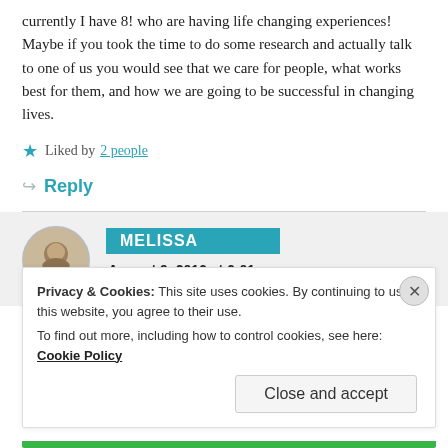currently I have 8! who are having life changing experiences! Maybe if you took the time to do some research and actually talk to one of us you would see that we care for people, what works best for them, and how we are going to be successful in changing lives.
★ Liked by 2 people
↳ Reply
MELISSA
August 9, 2016 at 6:01 pm
Privacy & Cookies: This site uses cookies. By continuing to use this website, you agree to their use.
To find out more, including how to control cookies, see here: Cookie Policy
Close and accept